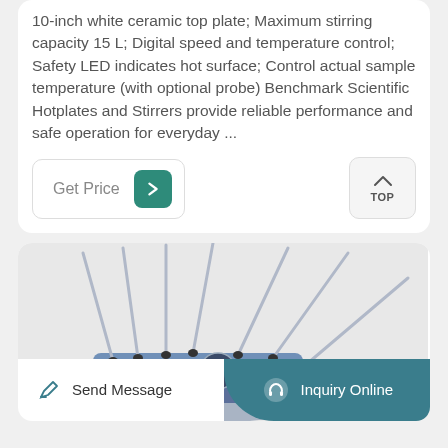10-inch white ceramic top plate; Maximum stirring capacity 15 L; Digital speed and temperature control; Safety LED indicates hot surface; Control actual sample temperature (with optional probe) Benchmark Scientific Hotplates and Stirrers provide reliable performance and safe operation for everyday ...
[Figure (other): Get Price button with teal arrow icon and TOP navigation button]
[Figure (photo): Product photo of laboratory hotplate stirrers with multiple stirring rods shown from above, blue/grey device]
[Figure (other): Bottom navigation bar with Send Message button (left, white background) and Inquiry Online button (right, teal background with headset icon)]